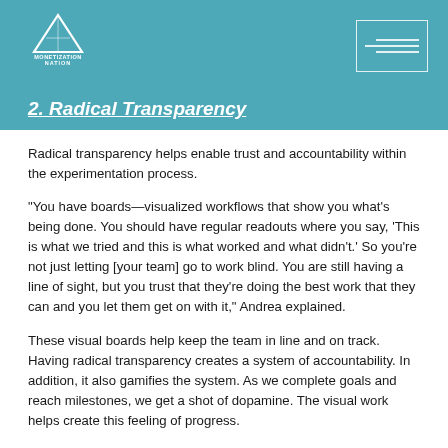Monetization Nation
2. Radical Transparency
Radical transparency helps enable trust and accountability within the experimentation process.
“You have boards—visualized workflows that show you what’s being done. You should have regular readouts where you say, ‘This is what we tried and this is what worked and what didn’t.’ So you’re not just letting [your team] go to work blind. You are still having a line of sight, but you trust that they’re doing the best work that they can and you let them get on with it,” Andrea explained.
These visual boards help keep the team in line and on track. Having radical transparency creates a system of accountability. In addition, it also gamifies the system. As we complete goals and reach milestones, we get a shot of dopamine. The visual work helps create this feeling of progress.
If someone is struggling on their part and we can see they are stuck, we can ask what we can do to help, and find the problem right away, rather than having them struggle with it.